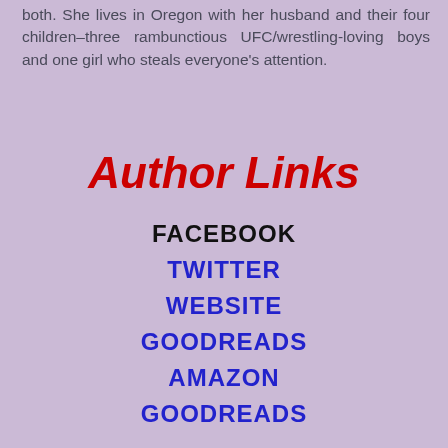both. She lives in Oregon with her husband and their four children–three rambunctious UFC/wrestling-loving boys and one girl who steals everyone's attention.
Author Links
FACEBOOK
TWITTER
WEBSITE
GOODREADS
AMAZON
GOODREADS